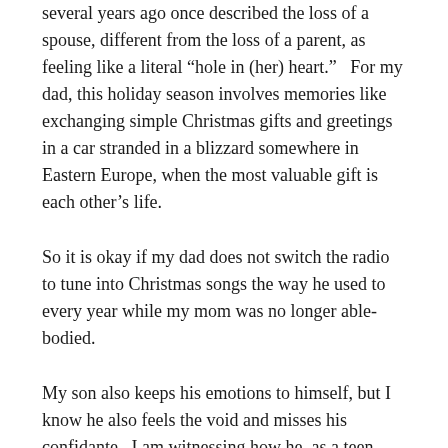several years ago once described the loss of a spouse, different from the loss of a parent, as feeling like a literal “hole in (her) heart.”   For my dad, this holiday season involves memories like exchanging simple Christmas gifts and greetings in a car stranded in a blizzard somewhere in Eastern Europe, when the most valuable gift is each other’s life.
So it is okay if my dad does not switch the radio to tune into Christmas songs the way he used to every year while my mom was no longer able-bodied.
My son also keeps his emotions to himself, but I know he also feels the void and misses his confidante.  I am witnessing how he, as a teen, does what he can to be as supportive as possible of his grandfather and mother through